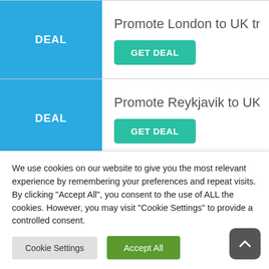[Figure (screenshot): Deal listing row: blue DEAL box on left, 'Promote London to UK travele...' text with teal GET DEAL button on right]
[Figure (screenshot): Deal listing row: blue DEAL box on left, 'Promote Reykjavik to UK trave...' text with teal GET DEAL button on right]
[Figure (screenshot): Partial deal listing row: blue DEAL box on left, 'Promote Dubai to UK travelers...' text partially visible]
We use cookies on our website to give you the most relevant experience by remembering your preferences and repeat visits. By clicking “Accept All”, you consent to the use of ALL the cookies. However, you may visit "Cookie Settings" to provide a controlled consent.